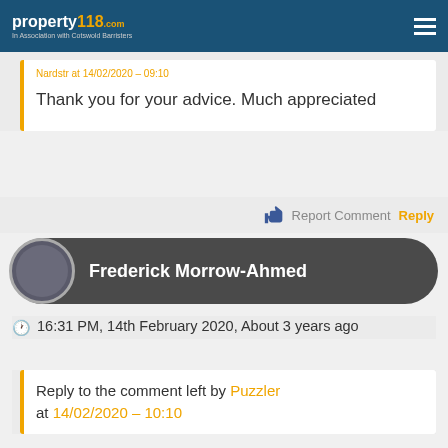property118.com - In Association with Cotswold Barristers
Thank you for your advice. Much appreciated
Report Comment  Reply
Frederick Morrow-Ahmed
16:31 PM, 14th February 2020, About 3 years ago
Reply to the comment left by Puzzler at 14/02/2020 - 10:10